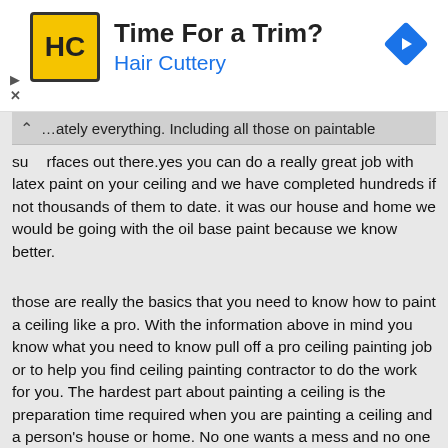[Figure (other): Hair Cuttery advertisement banner with logo, text 'Time For a Trim?' and 'Hair Cuttery', navigation arrow icon, play and close buttons]
…ately everything. Including all those on paintable surfaces out there.yes you can do a really great job with latex paint on your ceiling and we have completed hundreds if not thousands of them to date. it was our house and home we would be going with the oil base paint because we know better.
those are really the basics that you need to know how to paint a ceiling like a pro. With the information above in mind you know what you need to know pull off a pro ceiling painting job or to help you find ceiling painting contractor to do the work for you. The hardest part about painting a ceiling is the preparation time required when you are painting a ceiling and a person's house or home. No one wants a mess and no one will pay for a mess so only perfect professional ceiling painting results will do.
By 1/2 Price Pro Calgary Painting